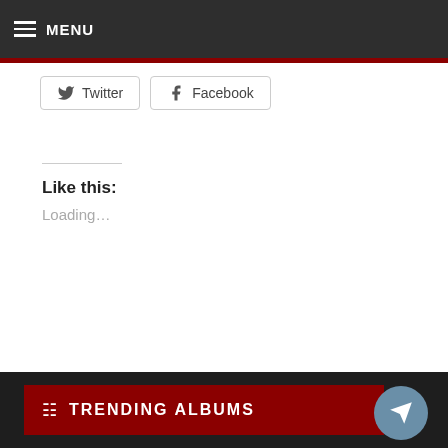MENU
Twitter  Facebook
Like this:
Loading...
← Chennai Kadhal (Joshua Sridhar) (AnAk Audio)[CD Image Copy]
Chikku Bhukku (Hari & Leslie) (Think Music) [CD Image Copy] →
TRENDING ALBUMS